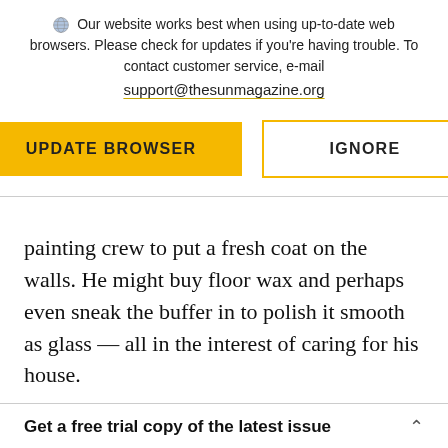Our website works best when using up-to-date web browsers. Please check for updates if you're having trouble. To contact customer service, e-mail support@thesunmagazine.org
[Figure (other): Two buttons: a yellow filled button labeled UPDATE BROWSER and a yellow-outlined button labeled IGNORE]
painting crew to put a fresh coat on the walls. He might buy floor wax and perhaps even sneak the buffer in to polish it smooth as glass — all in the interest of caring for his house.
Get a free trial copy of the latest issue